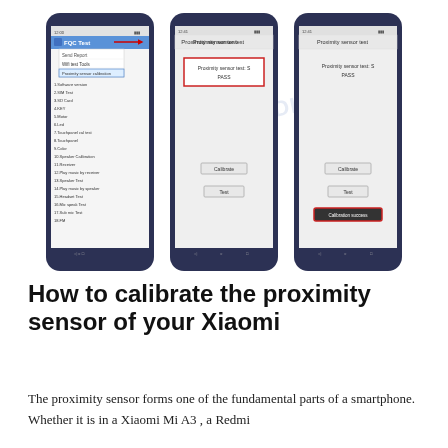[Figure (screenshot): Three smartphone screenshots showing the FQC Test app proximity sensor calibration process on a Xiaomi phone. Left phone shows FQC Test menu with 'Proximity sensor calibration' highlighted in a dropdown. Middle phone shows Proximity sensor test screen with 'Proximity sensor test: S PASS' in a red box and a Calibrate button. Right phone shows same screen with 'Calibration success' button highlighted in red box.]
How to calibrate the proximity sensor of your Xiaomi
The proximity sensor forms one of the fundamental parts of a smartphone. Whether it is in a Xiaomi Mi A3 , a Redmi